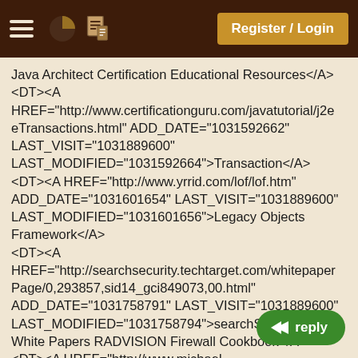Register / Login
Java Architect Certification Educational Resources</A>
<DT><A HREF="http://www.certificationguru.com/javatutorial/j2eeTransactions.html" ADD_DATE="1031592662" LAST_VISIT="1031889600" LAST_MODIFIED="1031592664">Transaction</A>
<DT><A HREF="http://www.yrrid.com/lof/lof.htm" ADD_DATE="1031601654" LAST_VISIT="1031889600" LAST_MODIFIED="1031601656">Legacy Objects Framework</A>
<DT><A HREF="http://searchsecurity.techtarget.com/whitepaperPage/0,293857,sid14_gci849073,00.html" ADD_DATE="1031758791" LAST_VISIT="1031889600" LAST_MODIFIED="1031758794">searchSecurity.com White Papers RADVISION Firewall Cookbook</A>
<DT><A HREF="http://www.michael-thomas.com/architect/index.htm" ADD_DATE="1031758975" LAST_VISIT="1031889600" LAST_MODIFIED="1031758978">Architect -